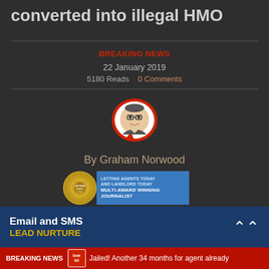converted into illegal HMO
BREAKING NEWS
22 January 2019
5180 Reads   0 Comments
[Figure (illustration): Author avatar of Graham Norwood inside a red speech bubble icon]
By Graham Norwood
[Figure (infographic): Award badge showing multi-award winning journalist with medal and blue banner]
Property Commentator of the Year
Overall Property Journalist of the Year
Lifestyle Magazine ...the Year
...omist of...
[Figure (infographic): Email and SMS Lead Nurture banner ad]
BREAKING NEWS  Jailed! Another 34 months for agent already